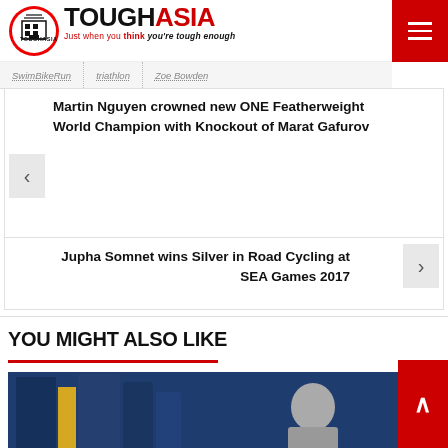TOUGH ASIA - Just when you think you're tough enough
SwimBikeRun | triathlon | Zoe Bowden
Martin Nguyen crowned new ONE Featherweight World Champion with Knockout of Marat Gafurov
Jupha Somnet wins Silver in Road Cycling at SEA Games 2017
YOU MIGHT ALSO LIKE
[Figure (photo): Sports photo showing people at what appears to be a sporting event, blue background]